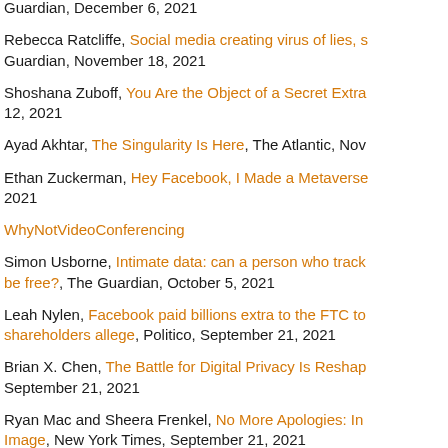Guardian, December 6, 2021
Rebecca Ratcliffe, Social media creating virus of lies, s Guardian, November 18, 2021
Shoshana Zuboff, You Are the Object of a Secret Extra 12, 2021
Ayad Akhtar, The Singularity Is Here, The Atlantic, Nov
Ethan Zuckerman, Hey Facebook, I Made a Metaverse 2021
WhyNotVideoConferencing
Simon Usborne, Intimate data: can a person who track be free?, The Guardian, October 5, 2021
Leah Nylen, Facebook paid billions extra to the FTC to shareholders allege, Politico, September 21, 2021
Brian X. Chen, The Battle for Digital Privacy Is Reshap September 21, 2021
Ryan Mac and Sheera Frenkel, No More Apologies: In Image, New York Times, September 21, 2021